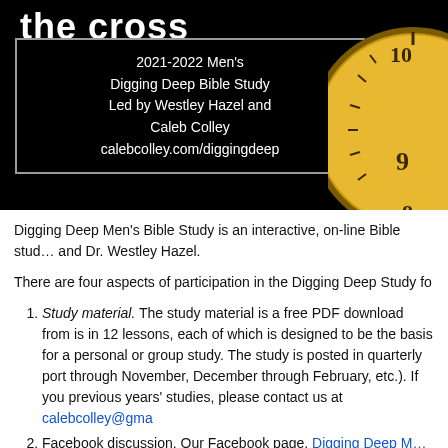[Figure (photo): Black banner with 'the cross' title text and a framed white-text box showing study info: '2021-2022 Men's Digging Deep Bible Study Led by Westley Hazel and Caleb Colley calebcolley.com/diggingdeep'. A gold pocket watch is visible on the right side.]
Digging Deep Men's Bible Study is an interactive, on-line Bible study and Dr. Westley Hazel.
There are four aspects of participation in the Digging Deep Study fo
Study material. The study material is a free PDF download from is in 12 lessons, each of which is designed to be the basis for a personal or group study. The study is posted in quarterly port through November, December through February, etc.). If you previous years' studies, please contact us at calebcolley@gma
Facebook discussion. Our Facebook page, Digging Deep Me